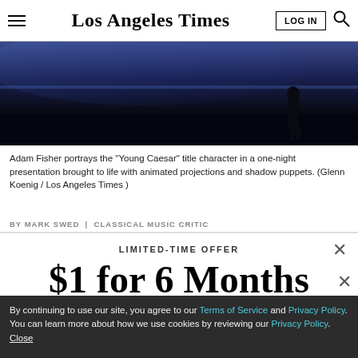Los Angeles Times
[Figure (photo): Dark stage scene with silhouetted figure, blue-lit backdrop for Young Caesar performance]
Adam Fisher portrays the "Young Caesar" title character in a one-night presentation brought to life with animated projections and shadow puppets. (Glenn Koenig / Los Angeles Times )
BY MARK SWED | CLASSICAL MUSIC CRITIC
LIMITED-TIME OFFER
$1 for 6 Months
SUBSCRIBE NOW
By continuing to use our site, you agree to our Terms of Service and Privacy Policy. You can learn more about how we use cookies by reviewing our Privacy Policy. Close